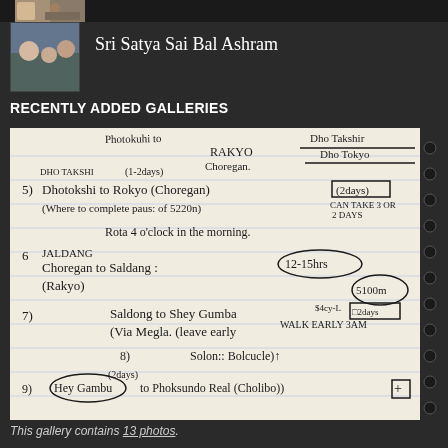[Figure (photo): Small thumbnail photo strip at top]
[Figure (photo): Profile thumbnail photo of people sitting]
Sri Satya Sai Bal Ashram
RECENTLY ADDED GALLERIES
[Figure (photo): Handwritten notebook page showing hiking/travel itinerary with numbered items 5-9, mentioning places like Dho Takshi, Rakyo Chorgan, Saldang, Shey Gumba, Solon, Hey Gambu, and Phoksundo Real (Cholibo). Notes include durations (2 days), times (4 o'clock in the morning, 12-15 hrs, WALK EARLY 3AM), distances ($4cy-L), and transport details (via Megla, leave early).]
This gallery contains 13 photos.